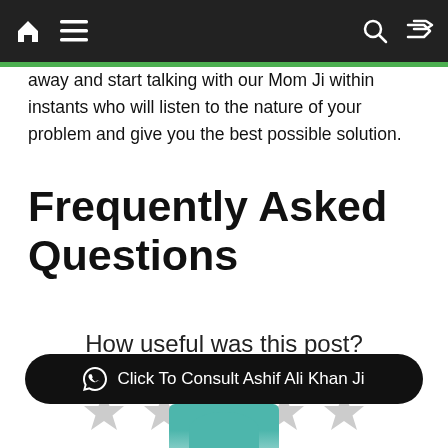Home menu Search shuffle
away and start talking with our Mom Ji within instants who will listen to the nature of your problem and give you the best possible solution.
Frequently Asked Questions
How useful was this post?
Click on a star to rate it!
[Figure (other): Five empty grey star rating icons in a row]
Click To Consult Ashif Ali Khan Ji